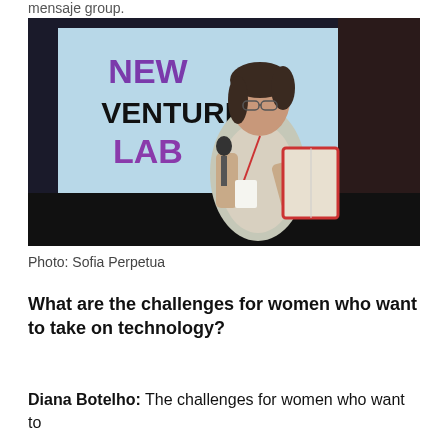mensaje group.
[Figure (photo): A woman standing at a podium holding a microphone in one hand and an open book in the other. She is wearing glasses and a patterned dress with a cardigan, and has a lanyard with a badge. Behind her is a projection screen displaying 'NEW VENTURES LAB' in large text.]
Photo: Sofia Perpetua
What are the challenges for women who want to take on technology?
Diana Botelho: The challenges for women who want to